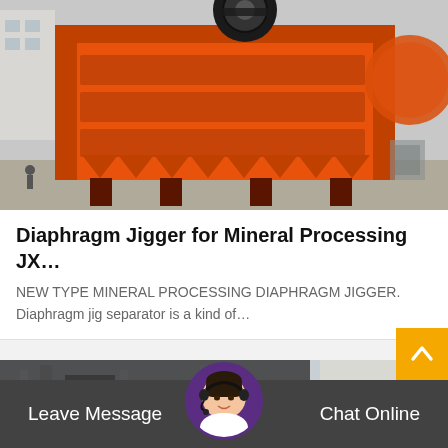[Figure (photo): Orange industrial jaw crusher or mineral processing machine photographed outdoors on a concrete surface, with another orange spherical mill visible in the background right.]
Diaphragm Jigger for Mineral Processing JX…
NEW TYPE MINERAL PROCESSING DIAPHRAGM JIGGER. Diaphragm jig separator is a kind of…
[Figure (photo): Dark industrial machinery or mining equipment photographed outdoors, partially visible at the bottom of the page.]
Leave Message
Chat Online